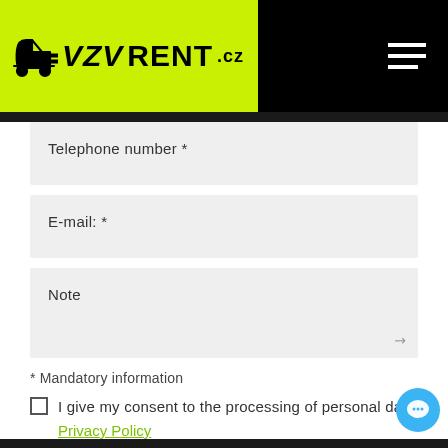[Figure (logo): VZVRENT.cz logo with forklift icon on yellow background, hamburger menu on black background]
Telephone number *
E-mail: *
Note
* Mandatory information
I give my consent to the processing of personal data
Privacy Policy